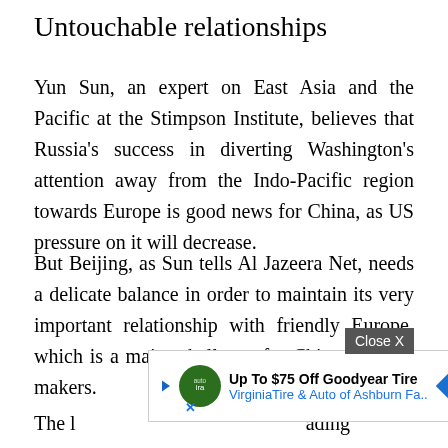Untouchable relationships
Yun Sun, an expert on East Asia and the Pacific at the Stimpson Institute, believes that Russia's success in diverting Washington's attention away from the Indo-Pacific region towards Europe is good news for China, as US pressure on it will decrease.
But Beijing, as Sun tells Al Jazeera Net, needs a delicate balance in order to maintain its very important relationship with friendly Europe, which is a major challenge for Chinese policy makers.
The l...ading partn...atome